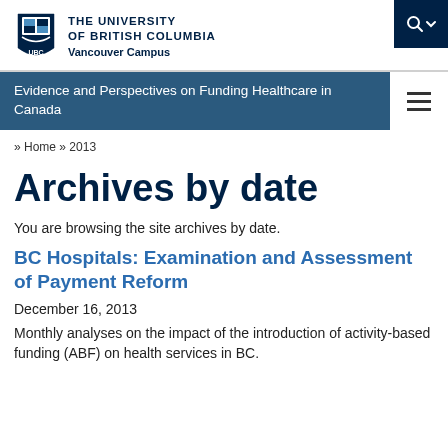[Figure (logo): UBC shield logo with THE UNIVERSITY OF BRITISH COLUMBIA text and Vancouver Campus]
Evidence and Perspectives on Funding Healthcare in Canada
» Home » 2013
Archives by date
You are browsing the site archives by date.
BC Hospitals: Examination and Assessment of Payment Reform
December 16, 2013
Monthly analyses on the impact of the introduction of activity-based funding (ABF) on health services in BC.